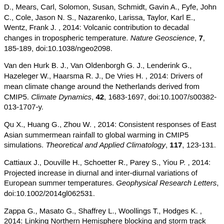D., Mears, Carl, Solomon, Susan, Schmidt, Gavin A., Fyfe, John C., Cole, Jason N. S., Nazarenko, Larissa, Taylor, Karl E., Wentz, Frank J. , 2014: Volcanic contribution to decadal changes in tropospheric temperature. Nature Geoscience, 7, 185-189, doi:10.1038/ngeo2098.
Van den Hurk B. J., Van Oldenborgh G. J., Lenderink G., Hazeleger W., Haarsma R. J., De Vries H. , 2014: Drivers of mean climate change around the Netherlands derived from CMIP5. Climate Dynamics, 42, 1683-1697, doi:10.1007/s00382-013-1707-y.
Qu X., Huang G., Zhou W. , 2014: Consistent responses of East Asian summermean rainfall to global warming in CMIP5 simulations. Theoretical and Applied Climatology, 117, 123-131.
Cattiaux J., Douville H., Schoetter R., Parey S., Yiou P. , 2014: Projected increase in diurnal and inter-diurnal variations of European summer temperatures. Geophysical Research Letters, doi:10.1002/2014gl062531.
Zappa G., Masato G., Shaffrey L., Woollings T., Hodges K. , 2014: Linking Northern Hemisphere blocking and storm track biases in the CMIP5 climate models. Geophysical Research Letters, doi:10.1002/2013gl058480.
Ceppi P., Zelinka M. D., Hartmann D. L. , 2014: The response of the